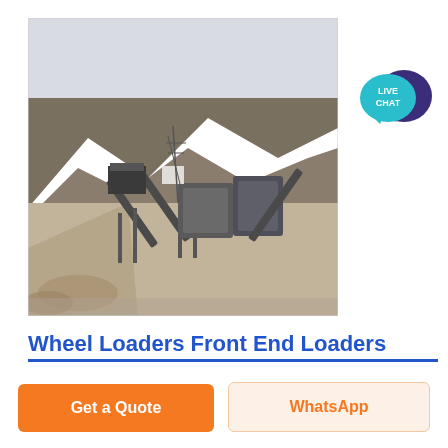[Figure (photo): Aerial/elevated view of an industrial mining or quarrying facility with conveyor belts, heavy machinery, and large dirt/rock embankments in an arid desert landscape.]
[Figure (infographic): Live Chat button icon — teal speech bubble with 'LIVE CHAT' text and dark purple chat icon.]
Wheel Loaders Front End Loaders
Get a Quote
WhatsApp